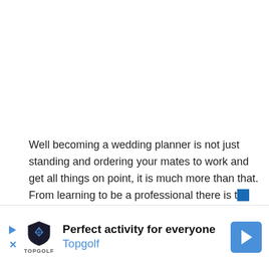Well becoming a wedding planner is not just standing and ordering your mates to work and get all things on point, it is much more than that. From learning to be a professional there is th[truncated]
[Figure (other): Advertisement banner for Topgolf: 'Perfect activity for everyone' with Topgolf shield logo and navigation arrow icon]